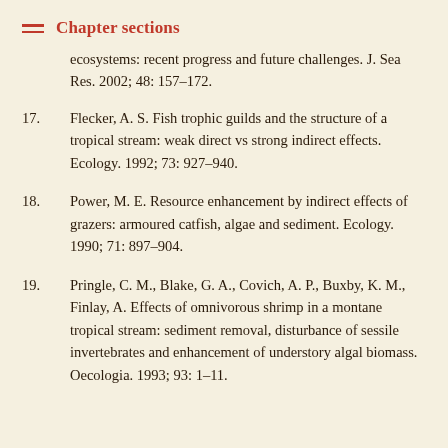Chapter sections
ecosystems: recent progress and future challenges. J. Sea Res. 2002; 48: 157–172.
17. Flecker, A. S. Fish trophic guilds and the structure of a tropical stream: weak direct vs strong indirect effects. Ecology. 1992; 73: 927–940.
18. Power, M. E. Resource enhancement by indirect effects of grazers: armoured catfish, algae and sediment. Ecology. 1990; 71: 897–904.
19. Pringle, C. M., Blake, G. A., Covich, A. P., Buxby, K. M., Finlay, A. Effects of omnivorous shrimp in a montane tropical stream: sediment removal, disturbance of sessile invertebrates and enhancement of understory algal biomass. Oecologia. 1993; 93: 1–11.